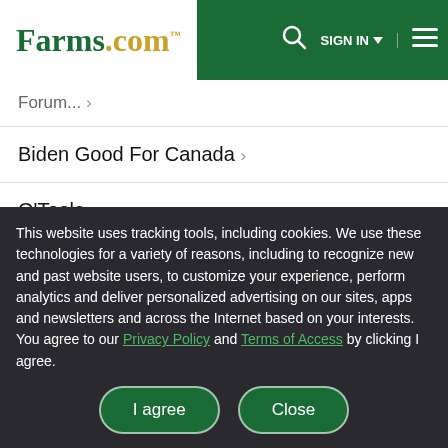Farms.com — SIGN IN — Navigation header
Forum... ›
Biden Good For Canada ›
O'Toole ›
Biggest farmland owner in the USA ›
Trudeau, still importing Covid into Canada ›
This website uses tracking tools, including cookies. We use these technologies for a variety of reasons, including to recognize new and past website users, to customize your experience, perform analytics and deliver personalized advertising on our sites, apps and newsletters and across the Internet based on your interests. You agree to our Privacy Policy and Terms of Access by clicking I agree.